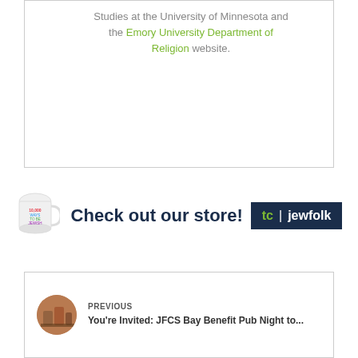Studies at the University of Minnesota and the Emory University Department of Religion website.
[Figure (infographic): Store promotional banner with a mug graphic, 'Check out our store!' text, and the tc|jewfolk logo]
PREVIOUS You're Invited: JFCS Bay Benefit Pub Night to...